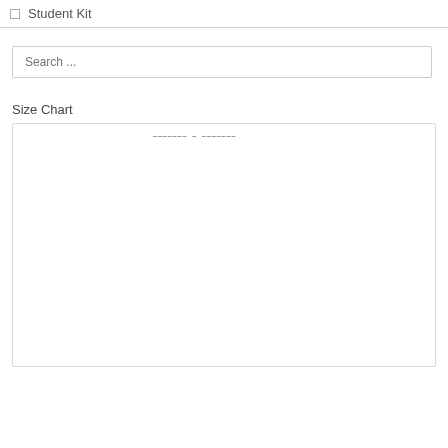Student Kit
Search ...
Size Chart
[Figure (other): A mostly blank white chart area with faint text at the top, representing a size chart placeholder or partially loaded chart image.]